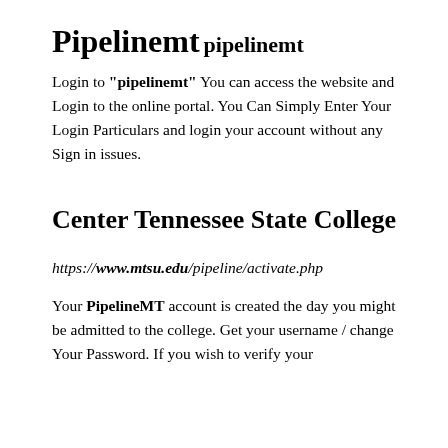Pipelinemt
pipelinemt
Login to "pipelinemt" You can access the website and Login to the online portal. You Can Simply Enter Your Login Particulars and login your account without any Sign in issues.
Center Tennessee State College
https://www.mtsu.edu/pipeline/activate.php
Your PipelineMT account is created the day you might be admitted to the college. Get your username / change Your Password. If you wish to verify your